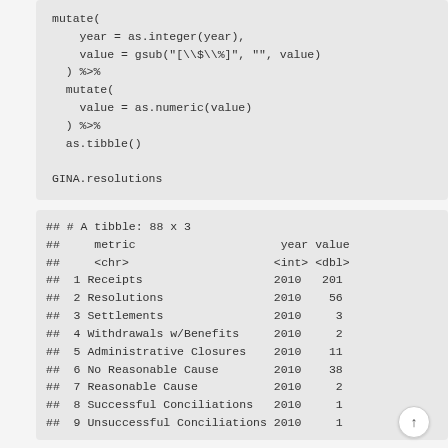mutate(
    year = as.integer(year),
    value = gsub("[\\$\\%]", "", value)
  ) %>%
  mutate(
    value = as.numeric(value)
  ) %>%
  as.tibble()

GINA.resolutions
## # A tibble: 88 x 3
##     metric                     year value
##     <chr>                     <int> <dbl>
##  1 Receipts                   2010   201
##  2 Resolutions                2010    56
##  3 Settlements                2010     3
##  4 Withdrawals w/Benefits     2010     2
##  5 Administrative Closures    2010    11
##  6 No Reasonable Cause        2010    38
##  7 Reasonable Cause           2010     2
##  8 Successful Conciliations   2010     1
##  9 Unsuccessful Conciliations 2010     1